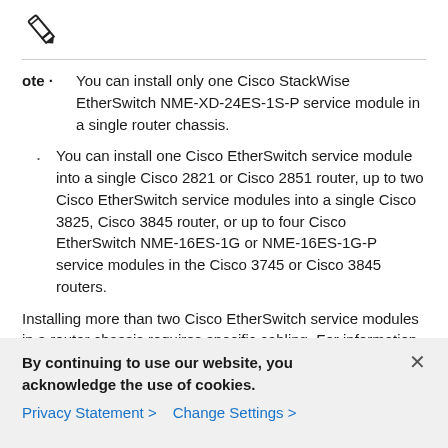[Figure (illustration): Pencil/note icon indicating a note callout]
You can install only one Cisco StackWise EtherSwitch NME-XD-24ES-1S-P service module in a single router chassis.
You can install one Cisco EtherSwitch service module into a single Cisco 2821 or Cisco 2851 router, up to two Cisco EtherSwitch service modules into a single Cisco 3825, Cisco 3845 router, or up to four Cisco EtherSwitch NME-16ES-1G or NME-16ES-1G-P service modules in the Cisco 3745 or Cisco 3845 routers.
Installing more than two Cisco EtherSwitch service modules in a router chassis requires specific cabling. For information about cabling multiple Cisco EtherSwitch service modules, see the Connecting Cisco Ethernet Switch Network Modules to the Network at the following URL:
By continuing to use our website, you acknowledge the use of cookies.
Privacy Statement > Change Settings >